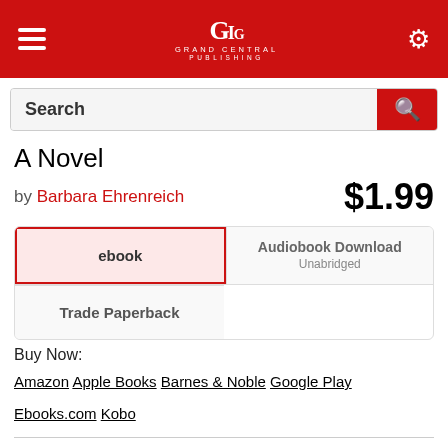Grand Central Publishing
A Novel
by Barbara Ehrenreich  $1.99
ebook | Audiobook Download Unabridged | Trade Paperback
Buy Now:
Amazon   Apple Books   Barnes & Noble   Google Play   Ebooks.com   Kobo
| On Sale | Page Count | Publisher | ISBN-13 |
| --- | --- | --- | --- |